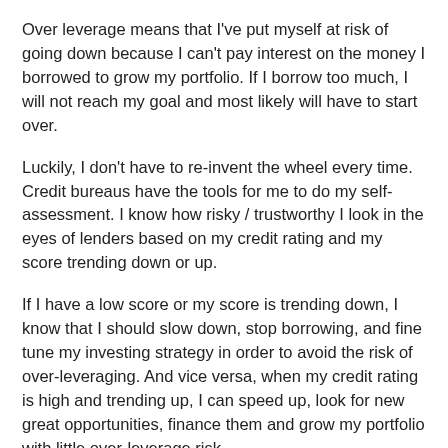Over leverage means that I've put myself at risk of going down because I can't pay interest on the money I borrowed to grow my portfolio. If I borrow too much, I will not reach my goal and most likely will have to start over.
Luckily, I don't have to re-invent the wheel every time. Credit bureaus have the tools for me to do my self-assessment. I know how risky / trustworthy I look in the eyes of lenders based on my credit rating and my score trending down or up.
If I have a low score or my score is trending down, I know that I should slow down, stop borrowing, and fine tune my investing strategy in order to avoid the risk of over-leveraging. And vice versa, when my credit rating is high and trending up, I can speed up, look for new great opportunities, finance them and grow my portfolio with little over-leverage risk.
Two Free Ways To Check Your Credit Rating